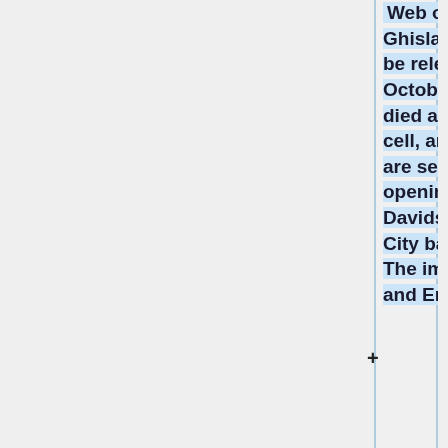Web of Jeffrey Epstein and Ghislaine Maxwell", set to be released Tuesday, October 20. Epstein, who died at age 66 in his jail cell, and Trump, now 74, are seen attending the opening of the Harley-Davidson Café in New York City back in October 1993. The image shows Ivanka and Eric looking on